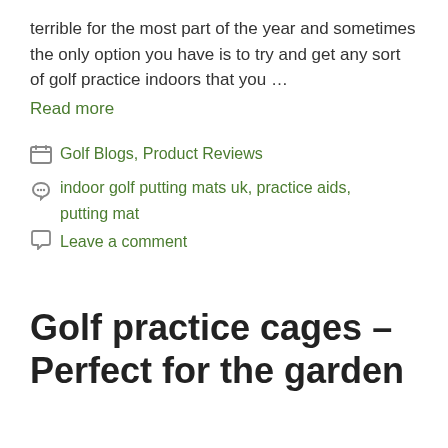terrible for the most part of the year and sometimes the only option you have is to try and get any sort of golf practice indoors that you …
Read more
Golf Blogs, Product Reviews
indoor golf putting mats uk, practice aids, putting mat
Leave a comment
Golf practice cages – Perfect for the garden